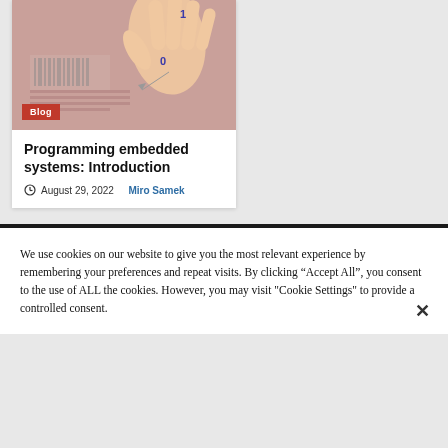[Figure (photo): Photo showing a hand over what appears to be a passport or ID document with a 'Blog' badge overlay]
Programming embedded systems: Introduction
August 29, 2022  Miro Samek
We use cookies on our website to give you the most relevant experience by remembering your preferences and repeat visits. By clicking “Accept All”, you consent to the use of ALL the cookies. However, you may visit "Cookie Settings" to provide a controlled consent.